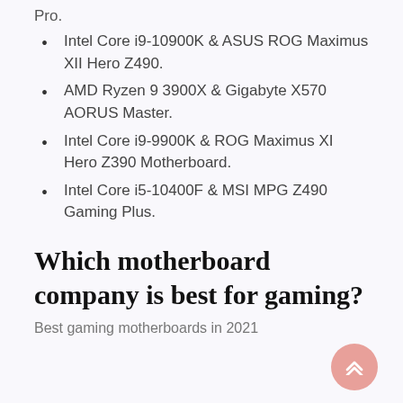Pro.
Intel Core i9-10900K & ASUS ROG Maximus XII Hero Z490.
AMD Ryzen 9 3900X & Gigabyte X570 AORUS Master.
Intel Core i9-9900K & ROG Maximus XI Hero Z390 Motherboard.
Intel Core i5-10400F & MSI MPG Z490 Gaming Plus.
Which motherboard company is best for gaming?
Best gaming motherboards in 2021